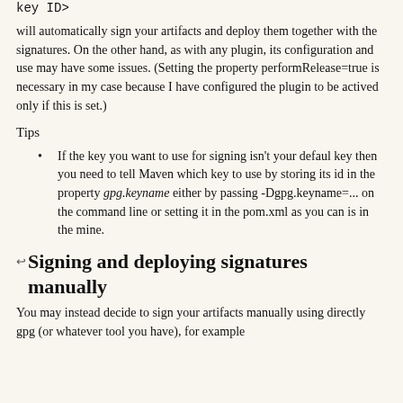key ID>
will automatically sign your artifacts and deploy them together with the signatures. On the other hand, as with any plugin, its configuration and use may have some issues. (Setting the property performRelease=true is necessary in my case because I have configured the plugin to be actived only if this is set.)
Tips
If the key you want to use for signing isn't your default key then you need to tell Maven which key to use by storing its id in the property gpg.keyname either by passing -Dgpg.keyname=... on the command line or setting it in the pom.xml as you can is in the mine.
Signing and deploying signatures manually
You may instead decide to sign your artifacts manually using directly gpg (or whatever tool you have), for example